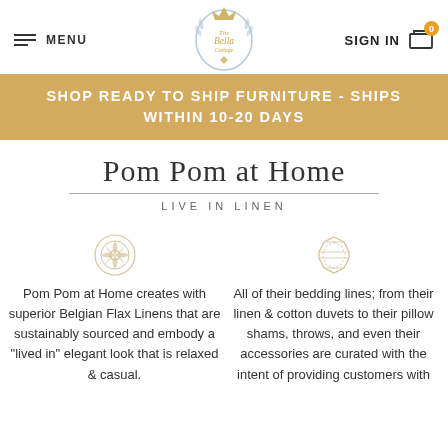MENU | The Bella Cottage logo | SIGN IN | Cart (0)
SHOP READY TO SHIP FURNITURE - SHIPS WITHIN 10-20 DAYS
Pom Pom at Home
LIVE IN LINEN
[Figure (illustration): Decorative floral/lace circular ornament icon in light gold/beige]
Pom Pom at Home creates with superior Belgian Flax Linens that are sustainably sourced and embody a "lived in" elegant look that is relaxed & casual.
[Figure (illustration): Decorative gem/diamond-like circular ornament icon in light gold/beige]
All of their bedding lines; from their linen & cotton duvets to their pillow shams, throws, and even their accessories are curated with the intent of providing customers with the most fine-tuned...